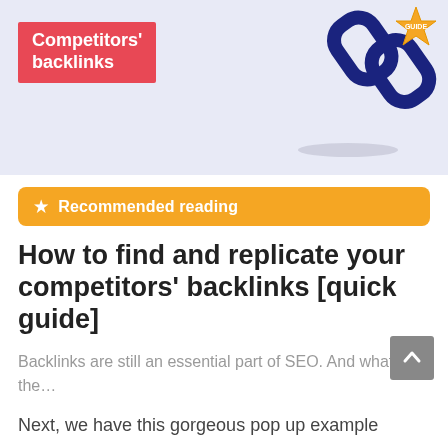[Figure (illustration): Recommended reading card image with light purple/lavender background. Red badge with white bold text 'Competitors' backlinks'. Blue chain link illustration in upper right. Gold star badge in top right corner. Shadow ellipse beneath chain link.]
★ Recommended reading
How to find and replicate your competitors' backlinks [quick guide]
Backlinks are still an essential part of SEO. And what is the…
Next, we have this gorgeous pop up example